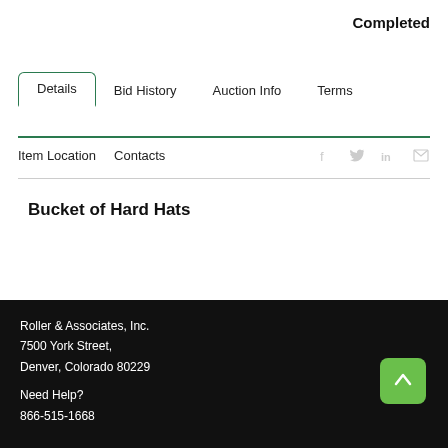Completed
Details | Bid History | Auction Info | Terms
Item Location | Contacts
Bucket of Hard Hats
Roller & Associates, Inc.
7500 York Street,
Denver, Colorado 80229

Need Help?
866-515-1668